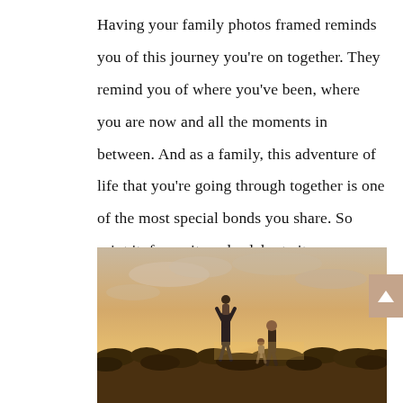Having your family photos framed reminds you of this journey you're on together. They remind you of where you've been, where you are now and all the moments in between. And as a family, this adventure of life that you're going through together is one of the most special bonds you share. So print it, frame it, and celebrate it.
[Figure (photo): A family outdoors at sunset in an open field. A parent lifts a child high in the air while another adult and child stand nearby. Warm golden light fills the sky with scattered clouds.]